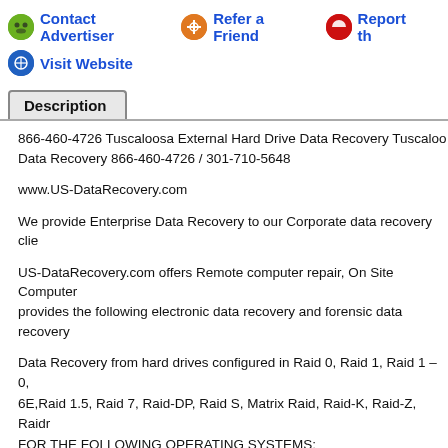Contact Advertiser   Refer a Friend   Report th   Visit Website
Description
866-460-4726 Tuscaloosa External Hard Drive Data Recovery Tuscaloo Data Recovery 866-460-4726 / 301-710-5648
www.US-DataRecovery.com
We provide Enterprise Data Recovery to our Corporate data recovery clie
US-DataRecovery.com offers Remote computer repair, On Site Computer provides the following electronic data recovery and forensic data recovery
Data Recovery from hard drives configured in Raid 0, Raid 1, Raid 1 – 0, 6E,Raid 1.5, Raid 7, Raid-DP, Raid S, Matrix Raid, Raid-K, Raid-Z, Raidr FOR THE FOLLOWING OPERATING SYSTEMS: RAID HARD DRIVE DATA RECOVERY FOR THE FOLLOWING OPERAT Red Hat, Suse, Caldera, SCO, Debian, Mandrake, Sorcerer, Turbo Linux, v10.6 Snow Leopard, Mac OS X v10.5 Leopard, Mac OS X v10.4 Tiger, M Apple operating systems, SCO Openserver (HTFS & EAFS), SCO Unixw UNIX (JFS 3.0,3.1,3.3)